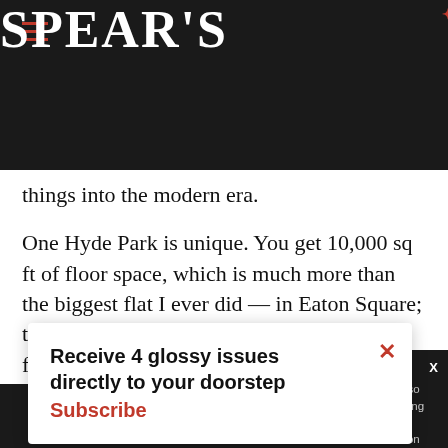SPEAR'S
things into the modern era.
One Hyde Park is unique. You get 10,000 sq ft of floor space, which is much more than the biggest flat I ever did — in Eaton Square; that was 6,500 sq ft, even after joining two flats together to create lateral living across four buildings and thirteen windows. Residents are fully serviced by the Mandarin Oriental, which means that they can eat Heston Blumenthal's food at the click of a
Receive 4 glossy issues directly to your doorstep
Subscribe
apartments so continue using our all cookies on this
Continue   Learn more